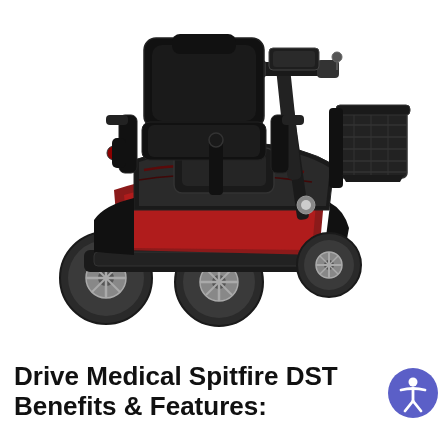[Figure (photo): A Drive Medical Spitfire DST mobility scooter with a black padded seat with armrests, steering tiller with key ignition, front basket, red accent body panels, and four wheels with silver spoke-style rims, shown on a white background.]
Drive Medical Spitfire DST Benefits & Features:
[Figure (other): Accessibility icon button — a blue circle containing a white person/wheelchair accessibility symbol (stylized person with arms out).]